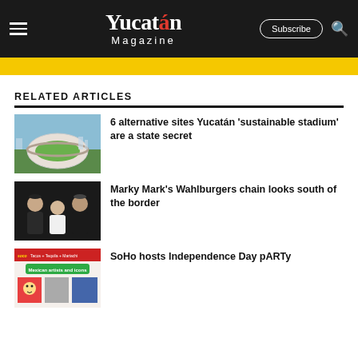Yucatán Magazine — Subscribe
[Figure (other): Yellow banner strip]
RELATED ARTICLES
[Figure (photo): Aerial view of a large circular stadium surrounded by trees and buildings]
6 alternative sites Yucatán 'sustainable stadium' are a state secret
[Figure (photo): Group photo of three men (Wahlberg brothers) in dark clothing]
Marky Mark's Wahlburgers chain looks south of the border
[Figure (photo): Event poster for Tacos + Tequila + Mariachi — Mexican artists and icons, with colorful artwork thumbnails]
SoHo hosts Independence Day pARTy